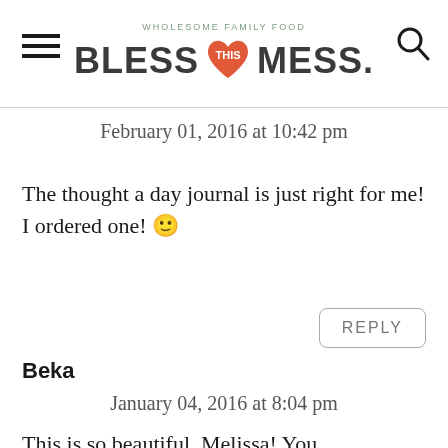WHOLESOME FAMILY FOOD | BLESS THIS MESS.
February 01, 2016 at 10:42 pm
The thought a day journal is just right for me! I ordered one! 🙂
REPLY
Beka
January 04, 2016 at 8:04 pm
This is so beautiful, Melissa! You